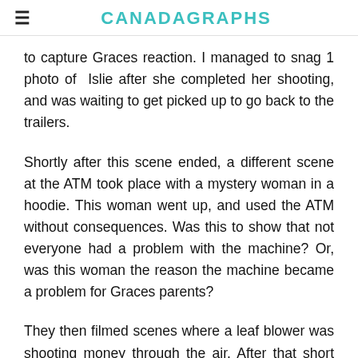CANADAGRAPHS
to capture Graces reaction. I managed to snag 1 photo of Islie after she completed her shooting, and was waiting to get picked up to go back to the trailers.
Shortly after this scene ended, a different scene at the ATM took place with a mystery woman in a hoodie. This woman went up, and used the ATM without consequences. Was this to show that not everyone had a problem with the machine? Or, was this woman the reason the machine became a problem for Graces parents?
They then filmed scenes where a leaf blower was shooting money through the air. After that short scene,